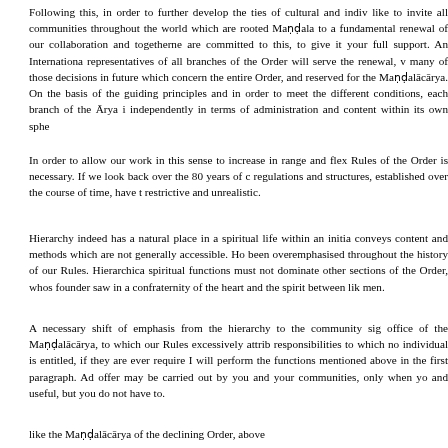Following this, in order to further develop the ties of cultural and indiv like to invite all communities throughout the world which are rooted Maṇḍala to a fundamental renewal of our collaboration and togetherne are committed to this, to give it your full support. An Internationa representatives of all branches of the Order will serve the renewal, v many of those decisions in future which concern the entire Order, and reserved for the Maṇḍalācārya. On the basis of the guiding principles and in order to meet the different conditions, each branch of the Ārya independently in terms of administration and content within its own sphe
In order to allow our work in this sense to increase in range and flex Rules of the Order is necessary. If we look back over the 80 years of c regulations and structures, established over the course of time, have t restrictive and unrealistic.
Hierarchy indeed has a natural place in a spiritual life within an initia conveys content and methods which are not generally accessible. Ho been overemphasised throughout the history of our Rules. Hierarchica spiritual functions must not dominate other sections of the Order, whos founder saw in a confraternity of the heart and the spirit between lik men.
A necessary shift of emphasis from the hierarchy to the community sig office of the Maṇḍalācārya, to which our Rules excessively attrib responsibilities to which no individual is entitled, if they are ever require I will perform the functions mentioned above in the first paragraph. Ad offer may be carried out by you and your communities, only when yo and useful, but you do not have to.
like the Maṇḍalācārya of the declining Order, above